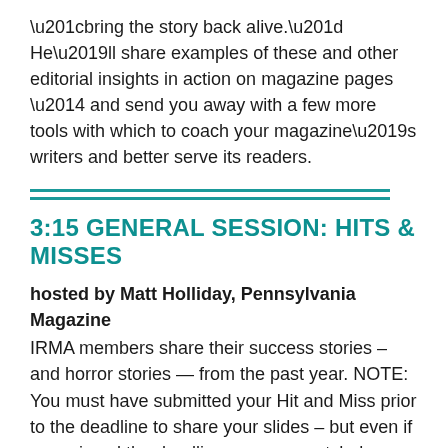“bring the story back alive.” He’ll share examples of these and other editorial insights in action on magazine pages — and send you away with a few more tools with which to coach your magazine’s writers and better serve its readers.
3:15 GENERAL SESSION: HITS & MISSES
hosted by Matt Holliday, Pennsylvania Magazine
IRMA members share their success stories – and horror stories — from the past year. NOTE: You must have submitted your Hit and Miss prior to the deadline to share your slides – but even if you missed the deadline, you can watch, learn and even heckle if you wish!